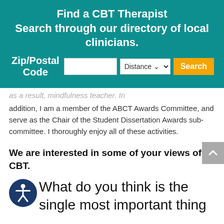Find a CBT Therapist
Search through our directory of local clinicians.
Zip/Postal Code [input] Distance [dropdown] Search
...addition, I am a member of the ABCT Awards Committee, and serve as the Chair of the Student Dissertation Awards sub-committee. I thoroughly enjoy all of these activities.
We are interested in some of your views of CBT.
What do you think is the single most important thing